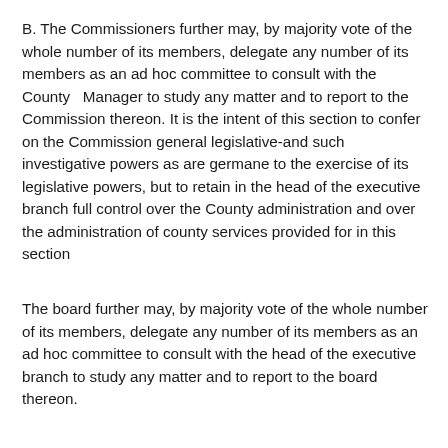B. The Commissioners further may, by majority vote of the whole number of its members, delegate any number of its members as an ad hoc committee to consult with the County  Manager to study any matter and to report to the Commission thereon. It is the intent of this section to confer on the Commission general legislative-and such investigative powers as are germane to the exercise of its legislative powers, but to retain in the head of the executive branch full control over the County administration and over the administration of county services provided for in this section
The board further may, by majority vote of the whole number of its members, delegate any number of its members as an ad hoc committee to consult with the head of the executive branch to study any matter and to report to the board thereon.